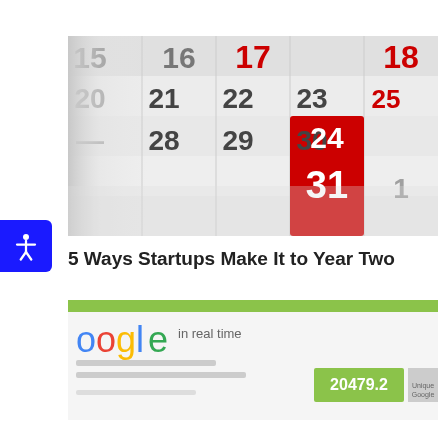[Figure (photo): Photo of a wall calendar showing dates 19-31, with date 31 highlighted in a red box and 17, 18, 24, 25 shown in red text]
5 Ways Startups Make It to Year Two
[Figure (screenshot): Screenshot of Google in real time page showing the number 20479.2 and text 'in real time', with a green top bar]